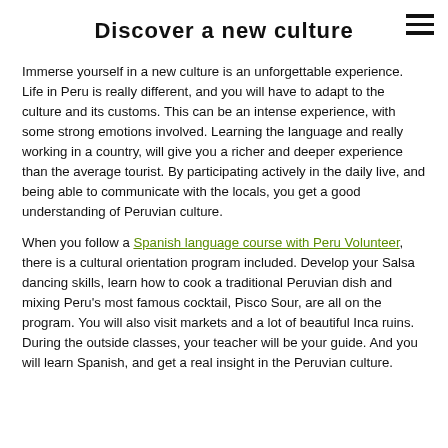Discover a new culture
Immerse yourself in a new culture is an unforgettable experience. Life in Peru is really different, and you will have to adapt to the culture and its customs. This can be an intense experience, with some strong emotions involved. Learning the language and really working in a country, will give you a richer and deeper experience than the average tourist. By participating actively in the daily live, and being able to communicate with the locals, you get a good understanding of Peruvian culture.
When you follow a Spanish language course with Peru Volunteer, there is a cultural orientation program included. Develop your Salsa dancing skills, learn how to cook a traditional Peruvian dish and mixing Peru's most famous cocktail, Pisco Sour, are all on the program. You will also visit markets and a lot of beautiful Inca ruins. During the outside classes, your teacher will be your guide. And you will learn Spanish, and get a real insight in the Peruvian culture.